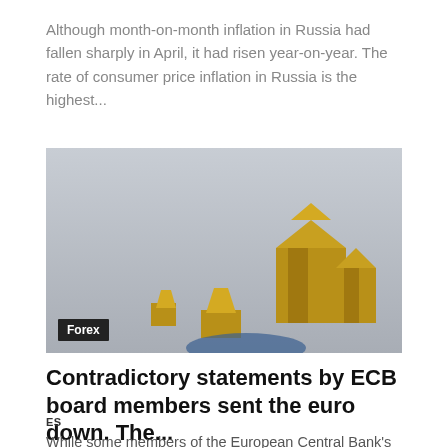Although month-on-month inflation in Russia had fallen sharply in April, it had risen year-on-year. The rate of consumer price inflation in Russia is the highest...
[Figure (photo): Photo of gold/yellow euro symbol stars sculpture against a grey sky background, with a 'Forex' label badge in the bottom left corner.]
Contradictory statements by ECB board members sent the euro down. The...
ES
While some members of the European Central Bank's Governing Council are already talking about possible interest rate hikes, ECB